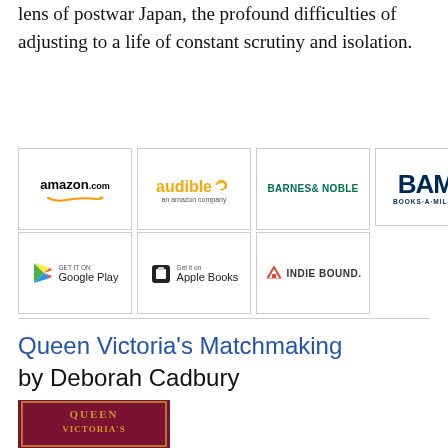lens of postwar Japan, the profound difficulties of adjusting to a life of constant scrutiny and isolation.
[Figure (logo): Row of retailer logos: amazon.com, audible (an amazon company), BARNES & NOBLE, BAM! BOOKS-A-MILLION]
[Figure (logo): Row of retailer logos: Get it on Google Play, Get it on Apple Books, IndieBound]
Queen Victoria's Matchmaking by Deborah Cadbury
[Figure (photo): Book cover for Queen Victoria's Matchmaking by Deborah Cadbury — dark red/maroon cover with gold decorative text reading QUEEN VICTORIA'S on visible portion]